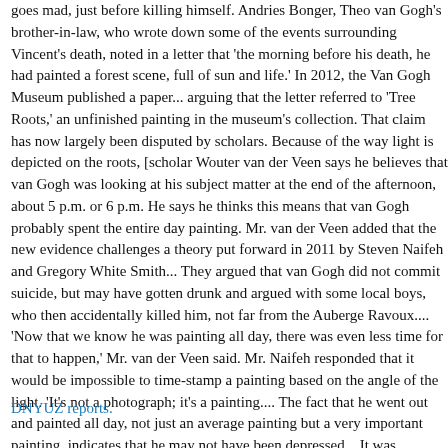goes mad, just before killing himself. Andries Bonger, Theo van Gogh's brother-in-law, who wrote down some of the events surrounding Vincent's death, noted in a letter that 'the morning before his death, he had painted a forest scene, full of sun and life.' In 2012, the Van Gogh Museum published a paper... arguing that the letter referred to 'Tree Roots,' an unfinished painting in the museum's collection. That claim has now largely been disputed by scholars. Because of the way light is depicted on the roots, [scholar Wouter van der Veen says he believes that van Gogh was looking at his subject matter at the end of the afternoon, about 5 p.m. or 6 p.m. He says he thinks this means that van Gogh probably spent the entire day painting. Mr. van der Veen added that the new evidence challenges a theory put forward in 2011 by Steven Naifeh and Gregory White Smith... They argued that van Gogh did not commit suicide, but may have gotten drunk and argued with some local boys, who then accidentally killed him, not far from the Auberge Ravoux.... 'Now that we know he was painting all day, there was even less time for that to happen,' Mr. van der Veen said. Mr. Naifeh responded that it would be impossible to time-stamp a painting based on the angle of the light. 'It's not a photograph; it's a painting.... The fact that he went out and painted all day, not just an average painting but a very important painting, indicates that he may not have been depressed... It was otherwise a productive day for him, and that runs counterintuitive to the idea that he might then go and kill himself.
DNYUZ reports.